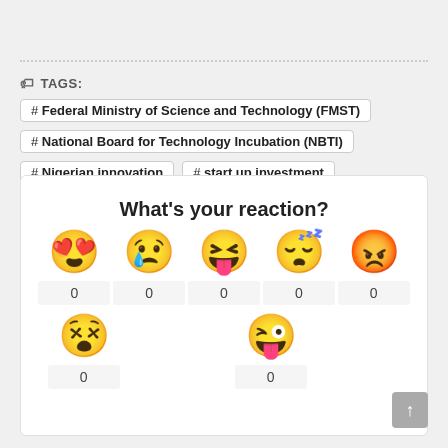TAGS: # Federal Ministry of Science and Technology (FMST) # National Board for Technology Incubation (NBTI) # Nigerian innovation # start up investment
What's your reaction?
0 0 0 0 0 0 0